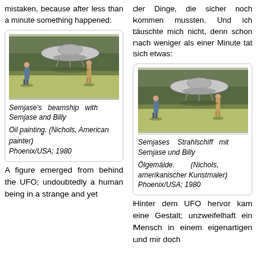mistaken, because after less than a minute something happened:
der Dinge, die sicher noch kommen mussten. Und ich täuschte mich nicht, denn schon nach weniger als einer Minute tat sich etwas:
[Figure (photo): Photo of Semjase's beamship (flying saucer/UFO) hovering above a field with two figures standing nearby - oil painting by Nichols]
Semjase's beamship with Semjase and Billy
Oil painting. (Nichols, American painter)
Phoenix/USA; 1980
[Figure (photo): Duplicate photo of Semjase's beamship (flying saucer/UFO) hovering above a field with two figures standing nearby - oil painting by Nichols]
Semjases Strahlschiff mit Semjase und Billy
Ölgemälde. (Nichols, amerikanischer Kunstmaler)
Phoenix/USA; 1980
A figure emerged from behind the UFO; undoubtedly a human being in a strange and yet
Hinter dem UFO hervor kam eine Gestalt; unzweifelhaft ein Mensch in einem eigenartigen und mir doch